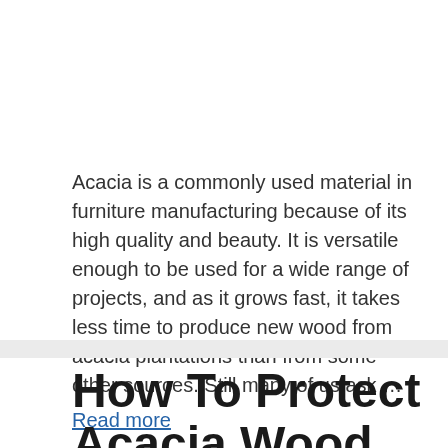Acacia is a commonly used material in furniture manufacturing because of its high quality and beauty. It is versatile enough to be used for a wide range of projects, and as it grows fast, it takes less time to produce new wood from acacia plantations than from some other sources. Still many of us ask … Read more
How To Protect Acacia Wood Outdoor